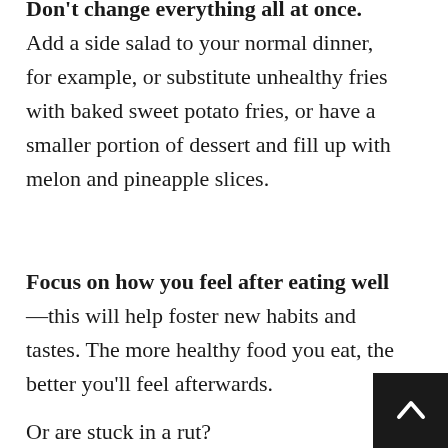Don't change everything all at once. Add a side salad to your normal dinner, for example, or substitute unhealthy fries with baked sweet potato fries, or have a smaller portion of dessert and fill up with melon and pineapple slices.
Focus on how you feel after eating well—this will help foster new habits and tastes. The more healthy food you eat, the better you'll feel afterwards.
Or are stuck in a rut?